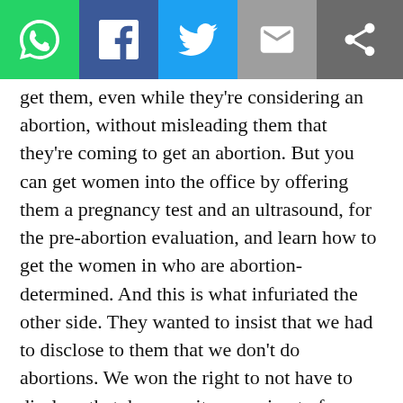[Social share toolbar: WhatsApp, Facebook, Twitter, Email, Share icons]
get them, even while they're considering an abortion, without misleading them that they're coming to get an abortion. But you can get women into the office by offering them a pregnancy test and an ultrasound, for the pre-abortion evaluation, and learn how to get the women in who are abortion-determined. And this is what infuriated the other side. They wanted to insist that we had to disclose to them that we don't do abortions. We won the right to not have to disclose that, because it was going to force government speech on us.
We learned that the ultrasound is critical, the education, having compassionate educators, advisers, who are